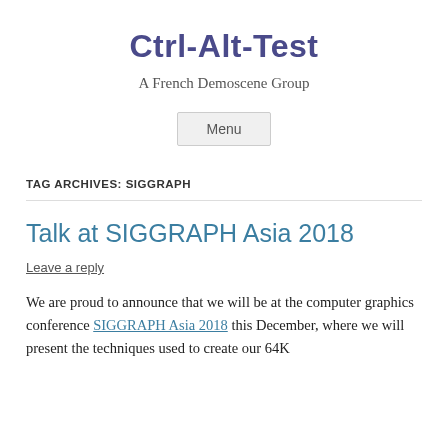Ctrl-Alt-Test
A French Demoscene Group
Menu
TAG ARCHIVES: SIGGRAPH
Talk at SIGGRAPH Asia 2018
Leave a reply
We are proud to announce that we will be at the computer graphics conference SIGGRAPH Asia 2018 this December, where we will present the techniques used to create our 64K